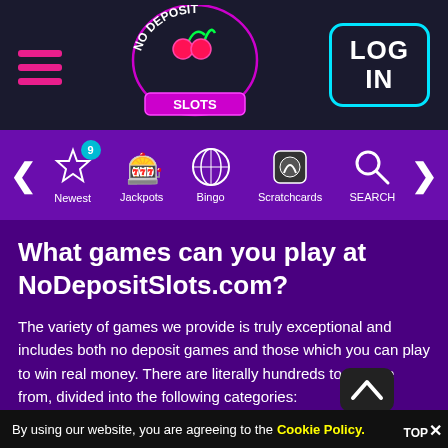[Figure (logo): No Deposit Slots neon logo with cherry graphic in center of header]
[Figure (screenshot): Navigation bar with Newest (badge 9), Jackpots, Bingo, Scratchcards, SEARCH icons on purple background]
What games can you play at NoDepositSlots.com?
The variety of games we provide is truly exceptional and includes both no deposit games and those which you can play to win real money. There are literally hundreds to choose from, divided into the following categories:
Online slot games
By using our website, you are agreeing to the Cookie Policy. TOP X